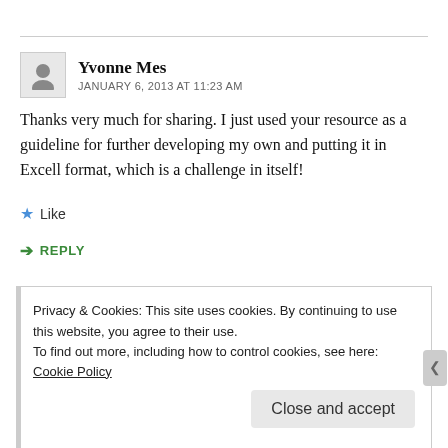Yvonne Mes
JANUARY 6, 2013 AT 11:23 AM
Thanks very much for sharing. I just used your resource as a guideline for further developing my own and putting it in Excell format, which is a challenge in itself!
★ Like
↳ REPLY
Privacy & Cookies: This site uses cookies. By continuing to use this website, you agree to their use.
To find out more, including how to control cookies, see here: Cookie Policy
Close and accept